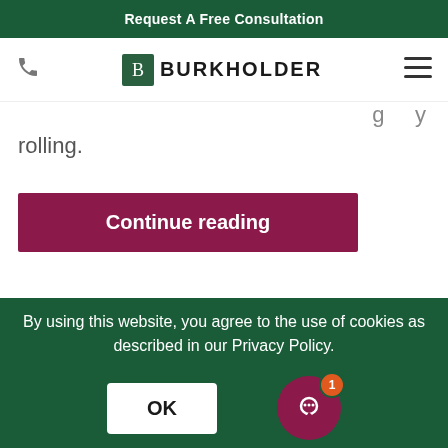Request A Free Consultation
[Figure (logo): Burkholder logo with phone icon and hamburger menu in navigation bar]
rolling.
Continue reading
[Figure (photo): Partial landscape/garden image strip]
By using this website, you agree to the use of cookies as described in our Privacy Policy.
OK